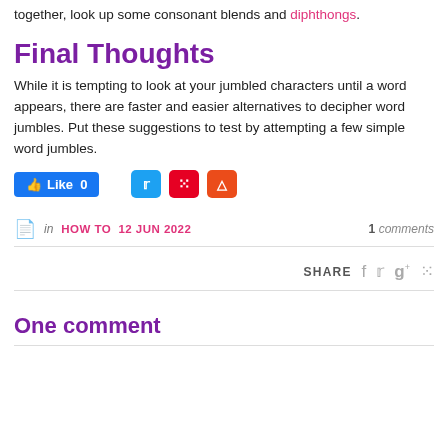together, look up some consonant blends and diphthongs.
Final Thoughts
While it is tempting to look at your jumbled characters until a word appears, there are faster and easier alternatives to decipher word jumbles. Put these suggestions to test by attempting a few simple word jumbles.
[Figure (other): Social sharing buttons: Facebook Like (0), Twitter, Pinterest, StumbleUpon]
in HOW TO 12 JUN 2022   1 comments
SHARE with social icons: Facebook, Twitter, Google+, Pinterest
One comment